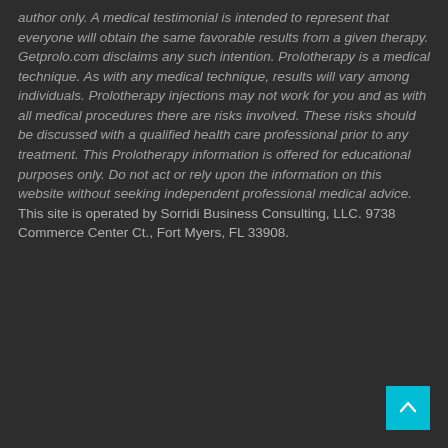author only. A medical testimonial is intended to represent that everyone will obtain the same favorable results from a given therapy. Getprolo.com disclaims any such intention. Prolotherapy is a medical technique. As with any medical technique, results will vary among individuals. Prolotherapy injections may not work for you and as with all medical procedures there are risks involved. These risks should be discussed with a qualified health care professional prior to any treatment. This Prolotherapy information is offered for educational purposes only. Do not act or rely upon the information on this website without seeking independent professional medical advice. This site is operated by Sorridi Business Consulting, LLC. 9738 Commerce Center Ct., Fort Myers, FL 33908.